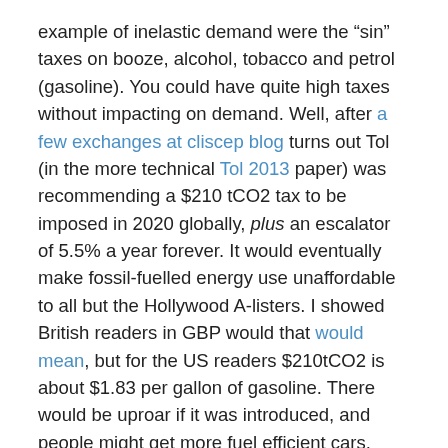example of inelastic demand were the “sin” taxes on booze, alcohol, tobacco and petrol (gasoline). You could have quite high taxes without impacting on demand. Well, after a few exchanges at cliscep blog turns out Tol (in the more technical Tol 2013 paper) was recommending a $210 tCO2 tax to be imposed in 2020 globally, plus an escalator of 5.5% a year forever. It would eventually make fossil-fuelled energy use unaffordable to all but the Hollywood A-listers. I showed British readers in GBP would that would mean, but for the US readers $210tCO2 is about $1.83 per gallon of gasoline. There would be uproar if it was introduced, and people might get more fuel efficient cars. With the escalator that would rise to over $3 a gallon in 2030, $9 2050, $35 in 2075 and$132 a gallon in 2100. There would also be similar hikes in electricity from coal and gas. This might not be fast enough to achieve the